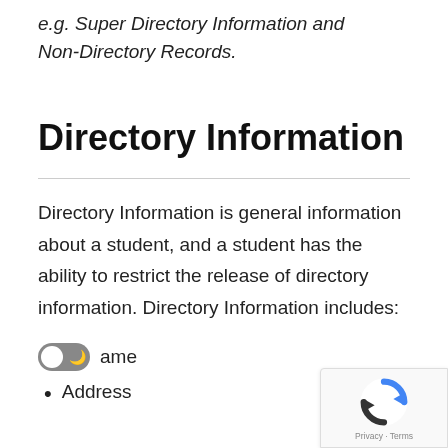e.g. Super Directory Information and Non-Directory Records.
Directory Information
Directory Information is general information about a student, and a student has the ability to restrict the release of directory information. Directory Information includes:
Name
Address